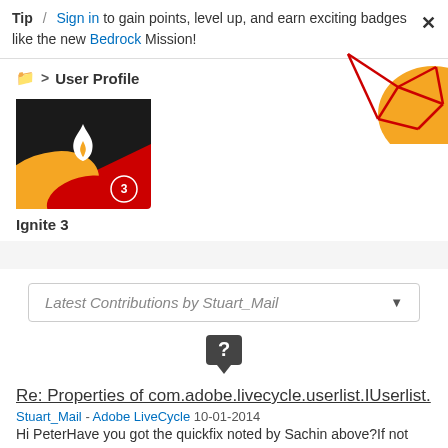Tip / Sign in to gain points, level up, and earn exciting badges like the new Bedrock Mission!
User Profile
[Figure (illustration): Decorative corner graphic with red geometric lines and orange semicircle]
[Figure (illustration): Ignite 3 badge - square badge with flame icon on red/orange/black background with red circle showing number 3]
Ignite 3
Latest Contributions by Stuart_Mail
[Figure (illustration): Question mark icon - dark gray speech bubble with white question mark]
Re: Properties of com.adobe.livecycle.userlist.IUserlist.
Stuart_Mail - Adobe LiveCycle 10-01-2014
Hi PeterHave you got the quickfix noted by Sachin above?If not